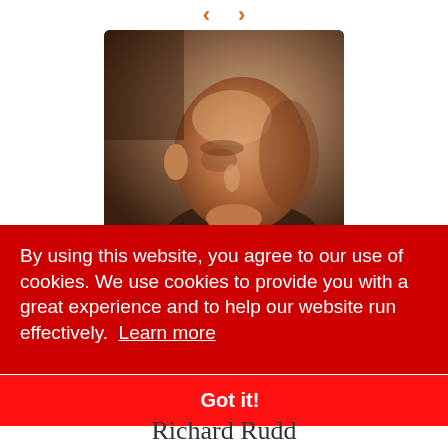[Figure (photo): Navigation arrows (left and right chevrons) in orange color at the top center of the page]
[Figure (photo): Portrait photo of a bald man looking upward, close-up face and head shot with warm brown background tones]
By using this website, you agree to our use of cookies. We use cookies to provide you with a great experience and to help our website run effectively. Learn more
Got it!
Richard Rudd